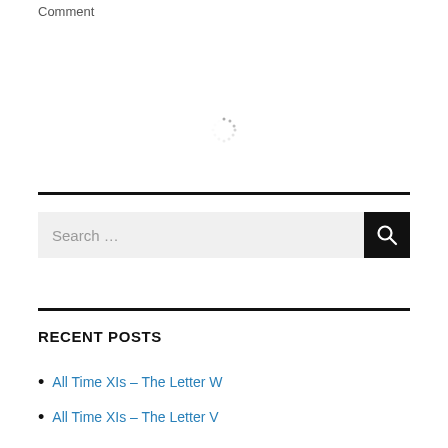Comment
[Figure (other): Loading spinner icon (circular dashed spinner)]
Search …
RECENT POSTS
All Time XIs – The Letter W
All Time XIs – The Letter V